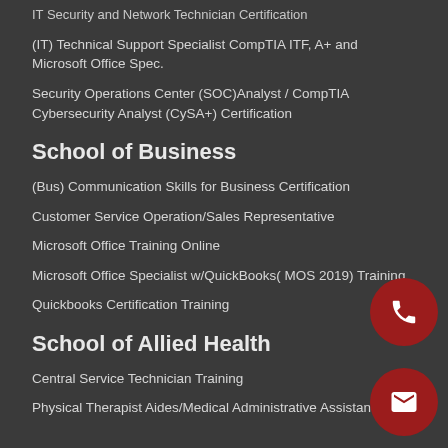IT Security and Network Technician Certification
(IT) Technical Support Specialist CompTIA ITF, A+ and Microsoft Office Spec.
Security Operations Center (SOC)Analyst / CompTIA Cybersecurity Analyst (CySA+) Certification
School of Business
(Bus) Communication Skills for Business Certification
Customer Service Operation/Sales Representative
Microsoft Office Training Online
Microsoft Office Specialist w/QuickBooks( MOS 2019) Training
Quickbooks Certification Training
School of Allied Health
Central Service Technician Training
Physical Therapist Aides/Medical Administrative Assistant